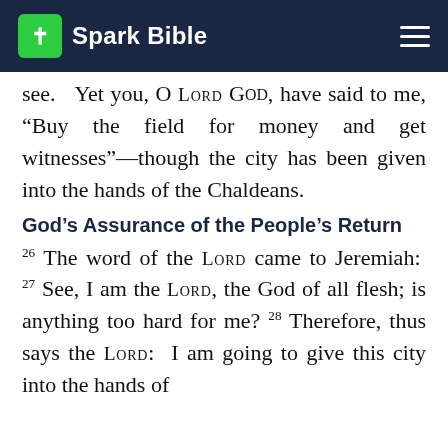Spark Bible
see.  Yet you, O Lord GOD, have said to me, “Buy the field for money and get witnesses”—though the city has been given into the hands of the Chaldeans.
God’s Assurance of the People’s Return
26 The word of the LORD came to Jeremiah: 27 See, I am the LORD, the God of all flesh; is anything too hard for me? 28 Therefore, thus says the LORD: I am going to give this city into the hands of the Chaldeans and into the hands of Ki...